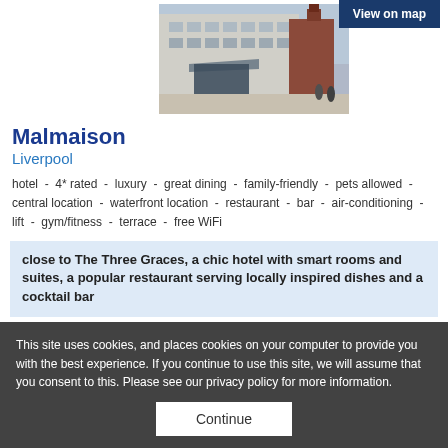[Figure (photo): Exterior photograph of Malmaison Liverpool hotel building, a large stone/concrete structure with modern glass entrance canopy, and a red brick clock tower visible in the background.]
Malmaison
Liverpool
hotel - 4* rated - luxury - great dining - family-friendly - pets allowed - central location - waterfront location - restaurant - bar - air-conditioning - lift - gym/fitness - terrace - free WiFi
close to The Three Graces, a chic hotel with smart rooms and suites, a popular restaurant serving locally inspired dishes and a cocktail bar
This site uses cookies, and places cookies on your computer to provide you with the best experience. If you continue to use this site, we will assume that you consent to this. Please see our privacy policy for more information.
Continue